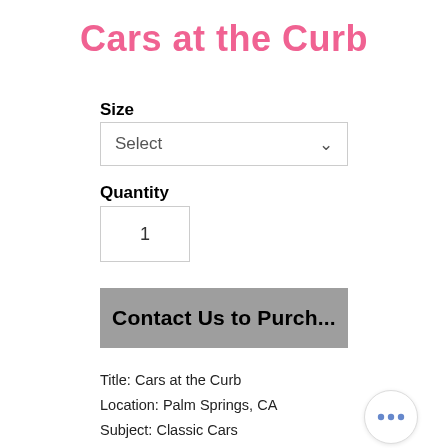Cars at the Curb
Size
[Figure (screenshot): Dropdown select box with 'Select' placeholder and chevron arrow]
Quantity
[Figure (screenshot): Quantity input box showing value 1]
[Figure (screenshot): Gray button labeled 'Contact Us to Purch...']
Title: Cars at the Curb
Location: Palm Springs, CA
Subject: Classic Cars
Sizes: 10"x8" to 30"x24" (HxW)